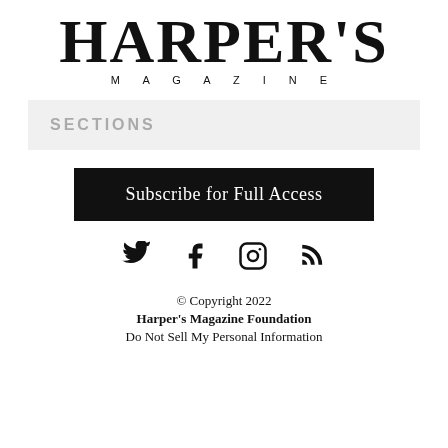[Figure (logo): Harper's Magazine logo with large serif HARPER'S text and MAGAZINE subtitle in spaced capitals]
SECTIONS
Subscribe for Full Access
[Figure (infographic): Social media icons: Twitter bird, Facebook f, Instagram camera, RSS feed]
© Copyright 2022
Harper's Magazine Foundation
Do Not Sell My Personal Information